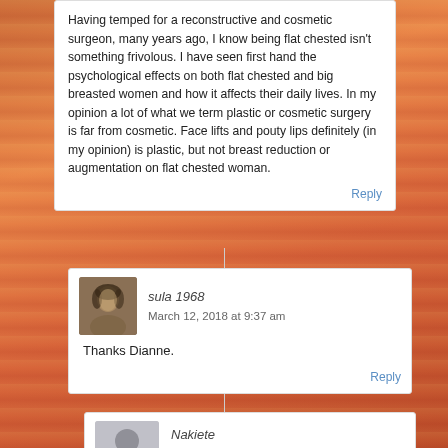Having temped for a reconstructive and cosmetic surgeon, many years ago, I know being flat chested isn't something frivolous. I have seen first hand the psychological effects on both flat chested and big breasted women and how it affects their daily lives. In my opinion a lot of what we term plastic or cosmetic surgery is far from cosmetic. Face lifts and pouty lips definitely (in my opinion) is plastic, but not breast reduction or augmentation on flat chested woman.
Reply
sula 1968
March 12, 2018 at 9:37 am
Thanks Dianne.
Reply
Nakiete
December 14, 2021 at 11:29 am